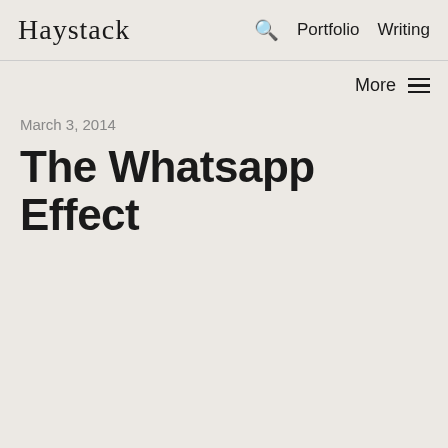Haystack   Portfolio   Writing
More
March 3, 2014
The Whatsapp Effect